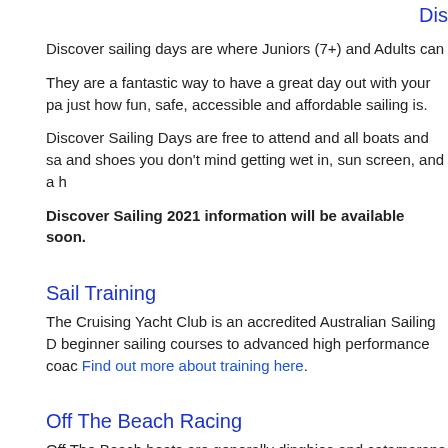Dis
Discover sailing days are where Juniors (7+) and Adults can
They are a fantastic way to have a great day out with your pa just how fun, safe, accessible and affordable sailing is.
Discover Sailing Days are free to attend and all boats and sa and shoes you don't mind getting wet in, sun screen, and a h
Discover Sailing 2021 information will be available soon.
Sail Training
The Cruising Yacht Club is an accredited Australian Sailing D beginner sailing courses to advanced high performance coac Find out more about training here.
Off The Beach Racing
Off The Beach boats are generally dinghies and catamarans the Clubhouse lawn on Saturday afternoons within the confin 'Fremantle Doctor' and a shared course area, Off The Beach
Off The Beach Classes raced are: